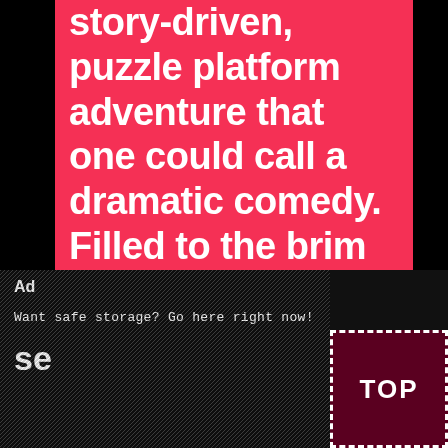story-driven, puzzle platform adventure that one could call a dramatic comedy. Filled to the brim with hilarious, cartoonish hijinks, the narrative also presents the player with mature and deep themes like death, envy, and obsession.>>Things inevitably go bat$#!# crazy, se ability to travel between
[Figure (other): Ad overlay banner with dark noisy background, 'Ad' label top-left, 'X' close button top-right, text 'Want safe storage? Go here right now!' in monospace white text.]
[Figure (other): TOP button — dark red/maroon square with dashed white border and bold white 'TOP' text, positioned bottom-right corner.]